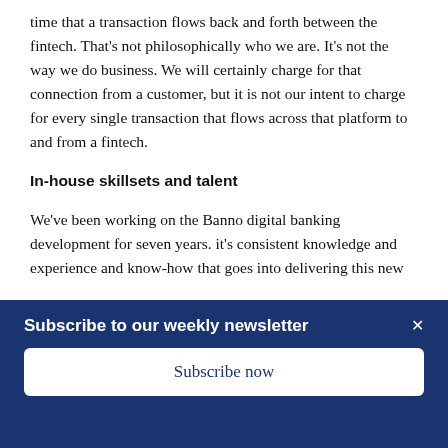time that a transaction flows back and forth between the fintech. That’s not philosophically who we are. It’s not the way we do business. We will certainly charge for that connection from a customer, but it is not our intent to charge for every single transaction that flows across that platform to and from a fintech.
In-house skillsets and talent
We’ve been working on the Banno digital banking development for seven years. it’s consistent knowledge and experience and know-how that goes into delivering this new
Subscribe to our weekly newsletter
Subscribe now